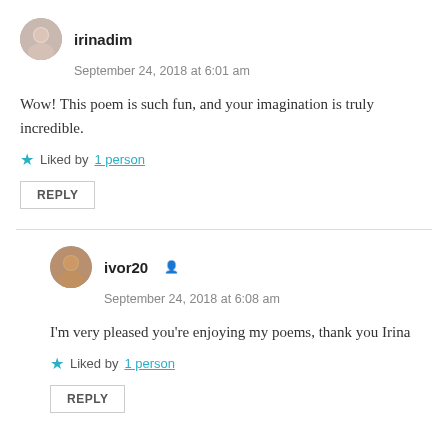irinadim
September 24, 2018 at 6:01 am
Wow! This poem is such fun, and your imagination is truly incredible.
Liked by 1 person
REPLY
ivor20
September 24, 2018 at 6:08 am
I'm very pleased you're enjoying my poems, thank you Irina
Liked by 1 person
REPLY